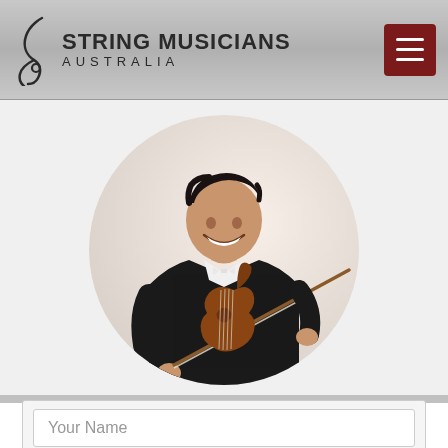String Musicians Australia
[Figure (photo): Smiling young man in black tuxedo with white bow tie playing violin, photographed in circular crop against light background]
Your Name